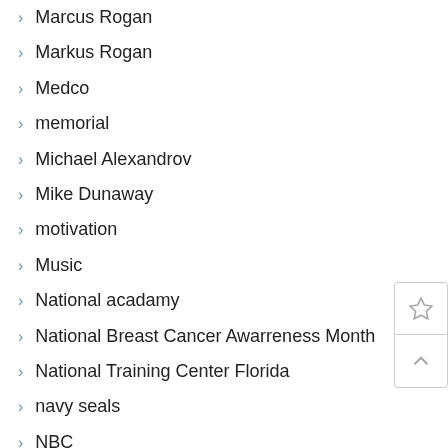Marcus Rogan
Markus Rogan
Medco
memorial
Michael Alexandrov
Mike Dunaway
motivation
Music
National acadamy
National Breast Cancer Awarreness Month
National Training Center Florida
navy seals
NBC